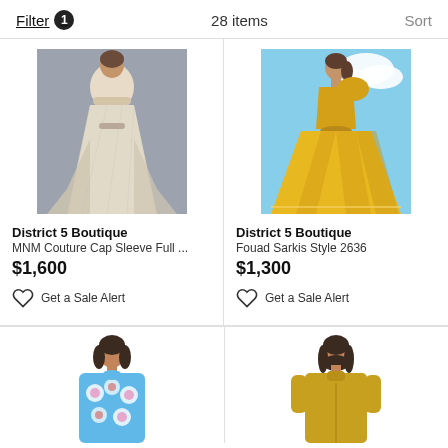Filter 1   28 items   Sort
[Figure (photo): Model wearing a silver/white lace ballgown with train, gray background]
District 5 Boutique
MNM Couture Cap Sleeve Full ...
$1,600
Get a Sale Alert
[Figure (photo): Model wearing a yellow/gold one-shoulder ballgown, sky background]
District 5 Boutique
Fouad Sarkis Style 2636
$1,300
Get a Sale Alert
[Figure (photo): Model wearing a blue floral top, partial view cropped at bottom]
[Figure (photo): Model wearing a mustard/yellow long sleeve top, partial view cropped at bottom]